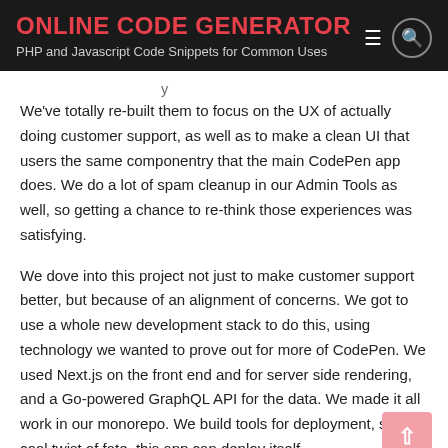ONLINE CODE GENERATOR
PHP and Javascript Code Snippets for Common Uses
We've totally re-built them to focus on the UX of actually doing customer support, as well as to make a clean UI that users the same componentry that the main CodePen app does. We do a lot of spam cleanup in our Admin Tools as well, so getting a chance to re-think those experiences was satisfying.
We dove into this project not just to make customer support better, but because of an alignment of concerns. We got to use a whole new development stack to do this, using technology we wanted to prove out for more of CodePen. We used Next.js on the front end and for server side rendering, and a Go-powered GraphQL API for the data. We made it all work in our monorepo. We build tools for deployment, so in a cool twist of fate, this app can deploy itself.
Jump Links